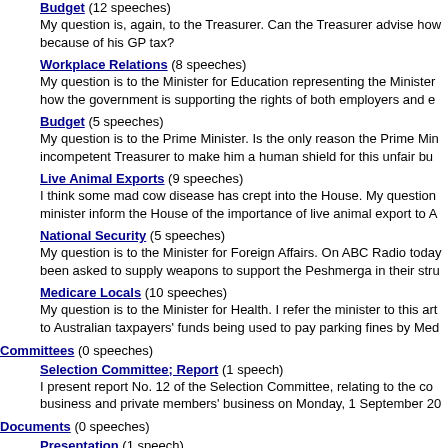Budget (12 speeches)
My question is, again, to the Treasurer. Can the Treasurer advise how because of his GP tax?
Workplace Relations (8 speeches)
My question is to the Minister for Education representing the Minister how the government is supporting the rights of both employers and e
Budget (5 speeches)
My question is to the Prime Minister. Is the only reason the Prime Min incompetent Treasurer to make him a human shield for this unfair bu
Live Animal Exports (9 speeches)
I think some mad cow disease has crept into the House. My question minister inform the House of the importance of live animal export to A
National Security (5 speeches)
My question is to the Minister for Foreign Affairs. On ABC Radio today been asked to supply weapons to support the Peshmerga in their stru
Medicare Locals (10 speeches)
My question is to the Minister for Health. I refer the minister to this art to Australian taxpayers' funds being used to pay parking fines by Med
Committees (0 speeches)
Selection Committee; Report (1 speech)
I present report No. 12 of the Selection Committee, relating to the co business and private members' business on Monday, 1 September 20
Documents (0 speeches)
Presentation (1 speech)